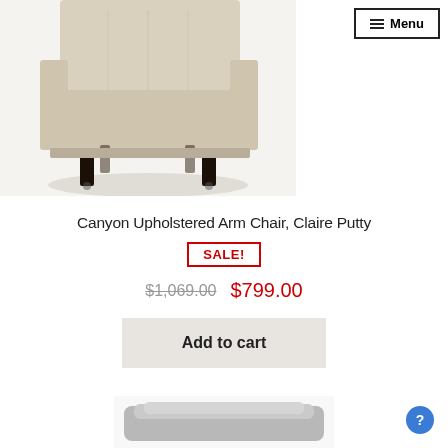[Figure (photo): Upholstered arm chair with beige/putty fabric and dark tapered legs, photographed from a low angle showing the base and legs on a light surface.]
☰ Menu
Canyon Upholstered Arm Chair, Claire Putty
SALE!
$1,069.00  $799.00
Add to cart
[Figure (photo): Partial view of another upholstered furniture piece in gray fabric at the bottom of the page.]